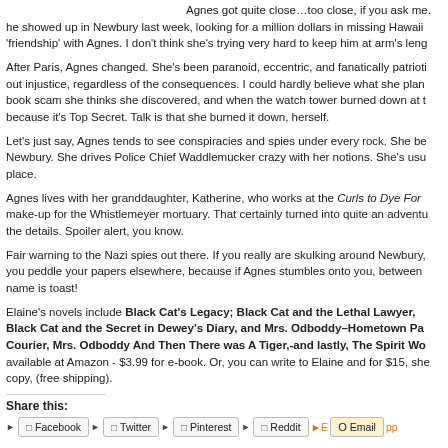Agnes got quite close…too close, if you ask me. he showed up in Newbury last week, looking for a million dollars in missing Hawaii 'friendship' with Agnes. I don't think she's trying very hard to keep him at arm's leng
After Paris, Agnes changed. She's been paranoid, eccentric, and fanatically patrioti out injustice, regardless of the consequences. I could hardly believe what she plan book scam she thinks she discovered, and when the watch tower burned down at t because it's Top Secret. Talk is that she burned it down, herself.
Let's just say, Agnes tends to see conspiracies and spies under every rock. She be Newbury. She drives Police Chief Waddlemucker crazy with her notions. She's usu place.
Agnes lives with her granddaughter, Katherine, who works at the Curls to Dye For make-up for the Whistlemeyer mortuary. That certainly turned into quite an adventu the details. Spoiler alert, you know.
Fair warning to the Nazi spies out there. If you really are skulking around Newbury, you peddle your papers elsewhere, because if Agnes stumbles onto you, between name is toast!
Elaine's novels include Black Cat's Legacy; Black Cat and the Lethal Lawyer, Black Cat and the Secret in Dewey's Diary, and Mrs. Odboddy–Hometown Pa Courier, Mrs. Odboddy And Then There was A Tiger,-and lastly, The Spirit Wo available at Amazon - $3.99 for e-book. Or, you can write to Elaine and for $15, she copy, (free shipping).
Share this:
Facebook  Twitter  Pinterest  Reddit  Email